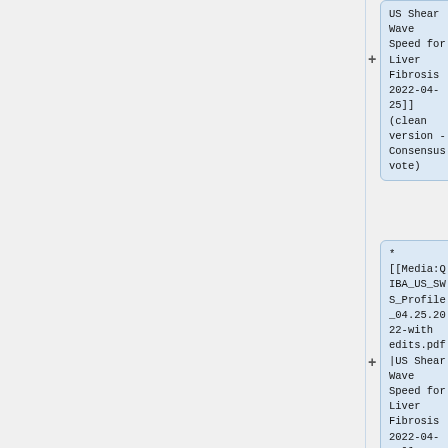US Shear Wave Speed for Liver Fibrosis 2022-04-25]] (clean version - Consensus vote)
* [[Media:QIBA_US_SWS_Profile_04.25.2022-with edits.pdf|US Shear Wave Speed for Liver Fibrosis 2022-04-25]] (version